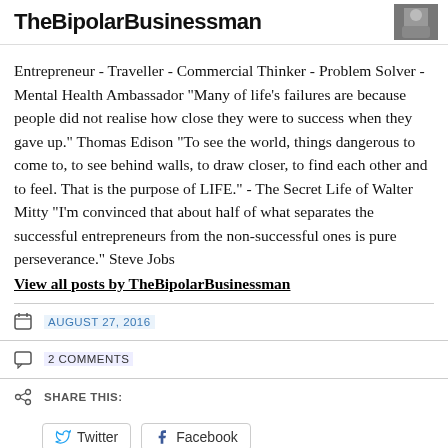TheBipolarBusinessman
Entrepreneur - Traveller - Commercial Thinker - Problem Solver - Mental Health Ambassador "Many of life's failures are because people did not realise how close they were to success when they gave up." Thomas Edison "To see the world, things dangerous to come to, to see behind walls, to draw closer, to find each other and to feel. That is the purpose of LIFE." - The Secret Life of Walter Mitty "I'm convinced that about half of what separates the successful entrepreneurs from the non-successful ones is pure perseverance." Steve Jobs
View all posts by TheBipolarBusinessman
AUGUST 27, 2016
2 COMMENTS
SHARE THIS:
Twitter
Facebook